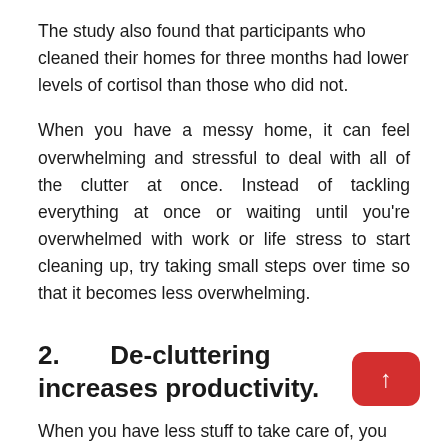The study also found that participants who cleaned their homes for three months had lower levels of cortisol than those who did not.
When you have a messy home, it can feel overwhelming and stressful to deal with all of the clutter at once. Instead of tackling everything at once or waiting until you're overwhelmed with work or life stress to start cleaning up, try taking small steps over time so that it becomes less overwhelming.
2.   De-cluttering   increases productivity.
When you have less stuff to take care of, you can focus on what really matters to you. For example, if you're not